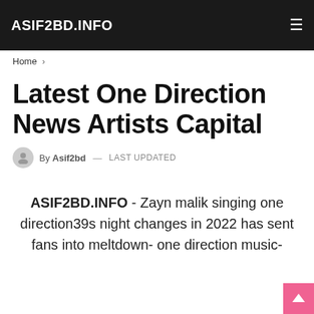ASIF2BD.INFO
Home >
Latest One Direction News Artists Capital
By Asif2bd — LAST UPDATED
ASIF2BD.INFO - Zayn malik singing one direction39s night changes in 2022 has sent fans into meltdown- one direction music-